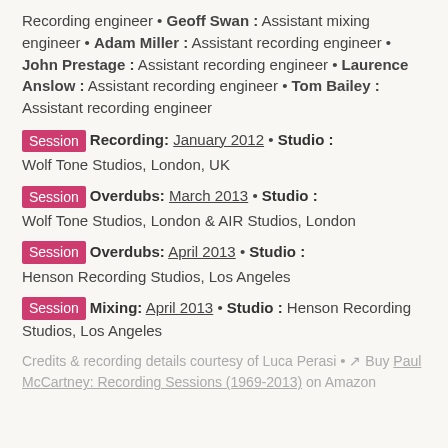Recording engineer • Geoff Swan : Assistant mixing engineer • Adam Miller : Assistant recording engineer • John Prestage : Assistant recording engineer • Laurence Anslow : Assistant recording engineer • Tom Bailey : Assistant recording engineer
Session Recording: January 2012 • Studio : Wolf Tone Studios, London, UK
Session Overdubs: March 2013 • Studio : Wolf Tone Studios, London & AIR Studios, London
Session Overdubs: April 2013 • Studio : Henson Recording Studios, Los Angeles
Session Mixing: April 2013 • Studio : Henson Recording Studios, Los Angeles
Credits & recording details courtesy of Luca Perasi • ↗ Buy Paul McCartney: Recording Sessions (1969-2013) on Amazon